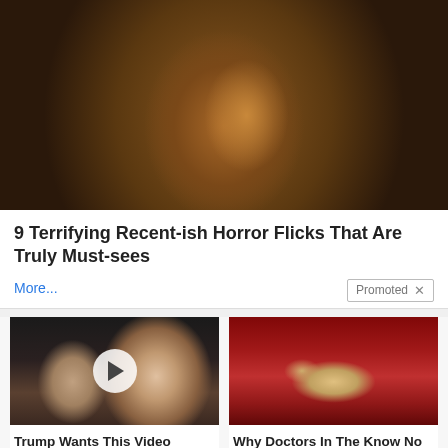[Figure (photo): Close-up photo of an older woman with long unkempt hair in a dark, moody scene — appears to be a horror movie still]
9 Terrifying Recent-ish Horror Flicks That Are Truly Must-sees
More...
Promoted ×
[Figure (photo): Photo of two people at what appears to be a political event, with a video play button overlay — Trump and Melania]
Trump Wants This Video Shared A Million Times — Watch Now Before It's Banned!
🔥 37,396
[Figure (photo): Medical/anatomical illustration of internal organs, reddish background]
Why Doctors In The Know No Longer Prescribe Metformin
🔥 111,057